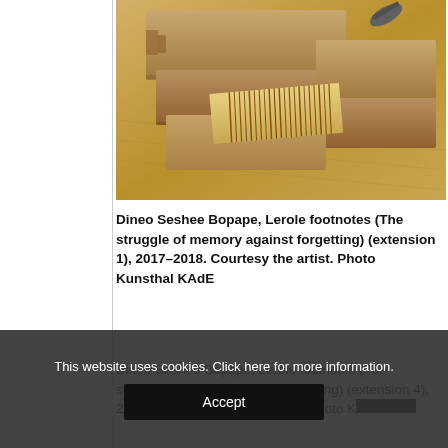[Figure (photo): Photograph of stacked mud/clay bricks with a lighter wooden plank/piece with striped pattern in the center, arranged on a wooden floor surface. Some small objects visible at top.]
Dineo Seshee Bopape, Lerole footnotes (The struggle of memory against forgetting) (extension 1), 2017–2018. Courtesy the artist. Photo Kunsthal KAdE
Dineo Seshee Bopape, Lerole footnotes (The struggle of memory against forgetting) (extension 4), 2017–2018. Courtesy the artist. Photo K...
This website uses cookies. Click here for more information.
Accept